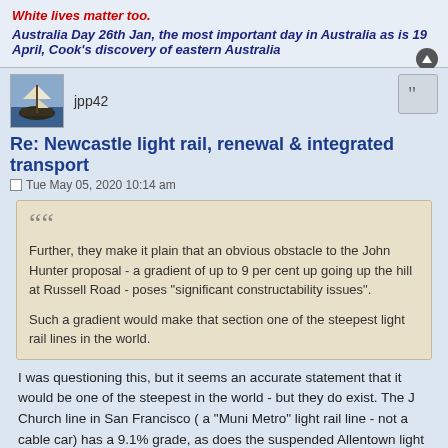White lives matter too.
Australia Day 26th Jan, the most important day in Australia as is 19 April, Cook's discovery of eastern Australia
jpp42
Re: Newcastle light rail, renewal & integrated transport
Tue May 05, 2020 10:14 am
Further, they make it plain that an obvious obstacle to the John Hunter proposal - a gradient of up to 9 per cent up going up the hill at Russell Road - poses "significant constructability issues".

Such a gradient would make that section one of the steepest light rail lines in the world.
I was questioning this, but it seems an accurate statement that it would be one of the steepest in the world - but they do exist. The J Church line in San Francisco ( a "Muni Metro" light rail line - not a cable car) has a 9.1% grade, as does the suspended Allentown light rail line in Pittsburgh